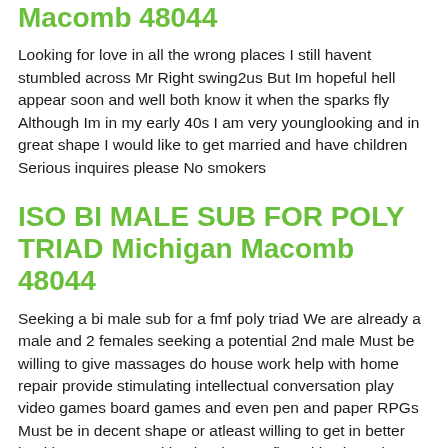Macomb 48044
Looking for love in all the wrong places I still havent stumbled across Mr Right swing2us But Im hopeful hell appear soon and well both know it when the sparks fly Although Im in my early 40s I am very younglooking and in great shape I would like to get married and have children Serious inquires please No smokers
ISO BI MALE SUB FOR POLY TRIAD Michigan Macomb 48044
Seeking a bi male sub for a fmf poly triad We are already a male and 2 females seeking a potential 2nd male Must be willing to give massages do house work help with home repair provide stimulating intellectual conversation play video games board games and even pen and paper RPGs Must be in decent shape or atleast willing to get in better health as we are working hard to get fit and in shape by September and may want you to exercise or go on walks with us from time to time Sex will happen but not on an every visit US doggers basis And if you enjoy it BDSM sessions can occur from time to time If this works out well a live in situation may be possible in the future Reply with picture and pack means family as the subject line and tell us a little about yourself D